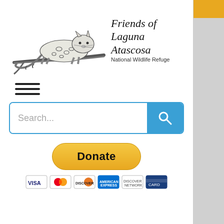[Figure (logo): Friends of Laguna Atascosa National Wildlife Refuge logo with ocelot on branch illustration]
Friends of
Laguna Atascosa
National Wildlife Refuge
[Figure (other): Hamburger menu icon with three horizontal lines]
[Figure (other): Search bar with placeholder text 'Search...' and a blue search button with magnifying glass icon]
[Figure (other): PayPal Donate button (gold/yellow rounded) with payment card icons below: VISA, Mastercard, Discover, American Express, and another card]